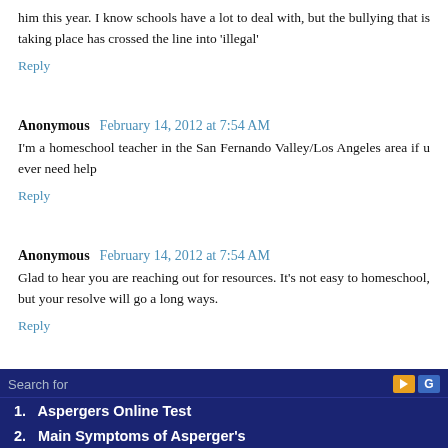him this year. I know schools have a lot to deal with, but the bullying that is taking place has crossed the line into 'illegal'
Reply
Anonymous February 14, 2012 at 7:54 AM
I'm a homeschool teacher in the San Fernando Valley/Los Angeles area if u ever need help
Reply
Anonymous February 14, 2012 at 7:54 AM
Glad to hear you are reaching out for resources. It's not easy to homeschool, but your resolve will go a long ways.
Reply
Search for
1. Aspergers Online Test
2. Main Symptoms of Asperger's